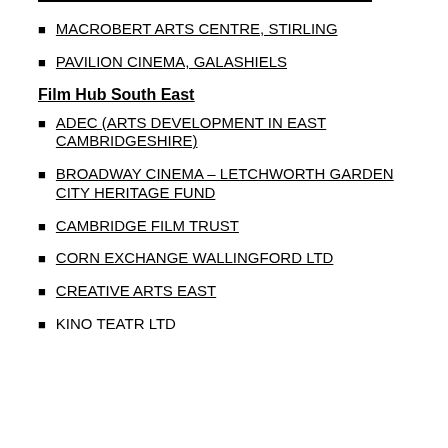MACROBERT ARTS CENTRE, STIRLING
PAVILION CINEMA, GALASHIELS
Film Hub South East
ADEC (ARTS DEVELOPMENT IN EAST CAMBRIDGESHIRE)
BROADWAY CINEMA – LETCHWORTH GARDEN CITY HERITAGE FUND
CAMBRIDGE FILM TRUST
CORN EXCHANGE WALLINGFORD LTD
CREATIVE ARTS EAST
KINO TEATR LTD